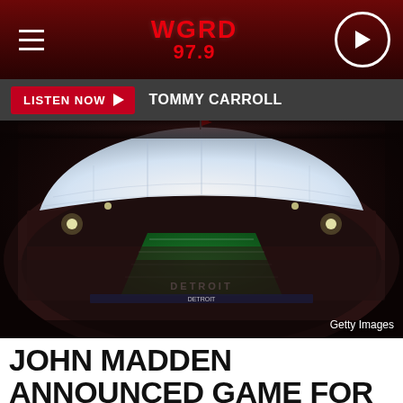WGRD 97.9
LISTEN NOW  TOMMY CARROLL
[Figure (photo): Aerial view of a packed domed football stadium at night, lit up with the field showing 'DETROIT' in the end zone. The dome roof is white with structural beams. The stadium is packed with fans. Getty Images credit in bottom right.]
Getty Images
JOHN MADDEN ANNOUNCED GAME FOR DETROIT LIONS LAST